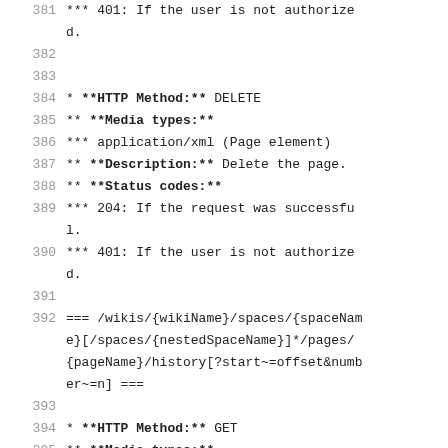381  *** 401: If the user is not authorized.
382
383
384  * **HTTP Method:** DELETE
385  ** **Media types:**
386  *** application/xml (Page element)
387  ** **Description:** Delete the page.
388  ** **Status codes:**
389  *** 204: If the request was successful.
390  *** 401: If the user is not authorized.
391
392  === /wikis/{wikiName}/spaces/{spaceName}[/spaces/{nestedSpaceName}]*/pages/{pageName}/history[?start~=offset&number~=n] ===
393
394  * **HTTP Method:** GET
395  ** **Media types:**
396  *** application/xml (History element)
397  ** **Description:** The list of all th